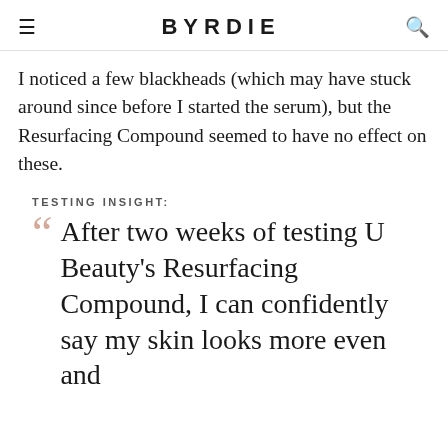BYRDIE
I noticed a few blackheads (which may have stuck around since before I started the serum), but the Resurfacing Compound seemed to have no effect on these.
TESTING INSIGHT:
After two weeks of testing U Beauty's Resurfacing Compound, I can confidently say my skin looks more even and